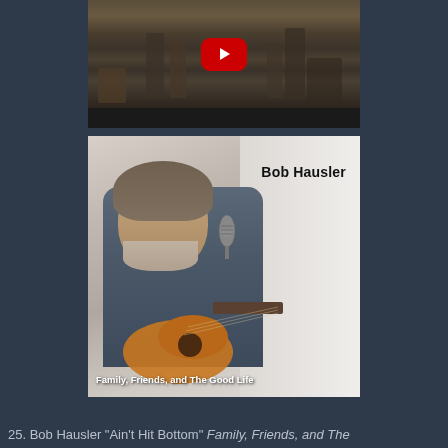[Figure (screenshot): YouTube video thumbnail showing musicians/band setting up on stage with equipment and instruments, with a YouTube play button overlay. Below is a dark progress/control bar.]
[Figure (photo): Album cover photo of Bob Hausler holding an acoustic guitar, smiling, with a vintage microphone in front of him. Text on image reads 'Bob Hausler' at top right and 'Family, Friends, and The Good Life' at bottom.]
25. Bob Hausler "Ain't Hit Bottom" Family, Friends, and The